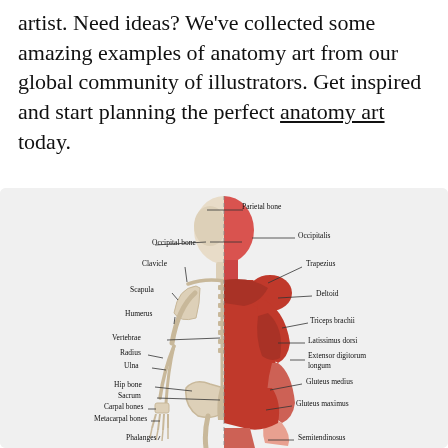artist. Need ideas? We've collected some amazing examples of anatomy art from our global community of illustrators. Get inspired and start planning the perfect anatomy art today.
[Figure (illustration): Anatomical illustration showing the posterior view of a human body split down the middle: left half shows the skeleton (labeled bones including Parietal bone, Occipital bone, Clavicle, Scapula, Humerus, Vertebrae, Radius, Ulna, Hip bone, Sacrum, Carpal bones, Metacarpal bones, Phalanges) and right half shows muscles (labeled including Occipitalis, Trapezius, Deltoid, Triceps brachii, Latissimus dorsi, Extensor digitorum longum, Gluteus medius, Gluteus maximus, Semitendinosus).]